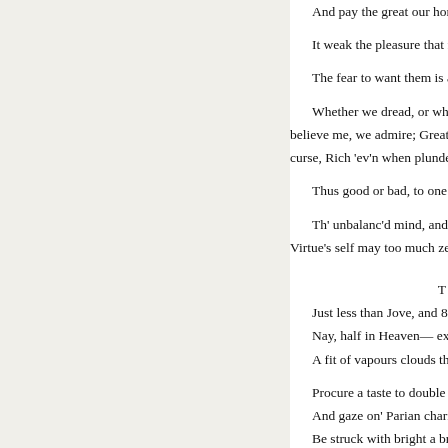And pay the great our homage...
It weak the pleasure that from...
The fear to want them is as we...
Whether we dread, or whether... believe me, we admire; Great wi... curse, Rich 'ev'n when plunder'd,
Thus good or bad, to one extre...
Th' unbalanc'd mind, and snat... Virtue's self may too much zeal b...
T
Just less than Jove, and 8 m...
Nay, half in Heaven— exce...
A fit of vapours clouds this...
Procure a taste to double the...
And gaze on' Parian charms...
Be struck with bright a broc...
Our birth-day nobles' splend...
BOOK I. EPISTLE VI.
To see their judgments her...